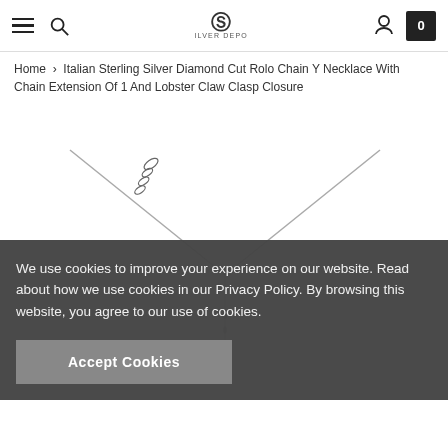Silver Depot navigation bar with hamburger menu, search, logo, user account, and cart (0)
Home > Italian Sterling Silver Diamond Cut Rolo Chain Y Necklace With Chain Extension Of 1 And Lobster Claw Clasp Closure
[Figure (photo): Y-necklace product photo showing a silver diamond cut rolo chain Y necklace with lobster claw clasp and chain extension, displayed on white background]
We use cookies to improve your experience on our website. Read about how we use cookies in our Privacy Policy. By browsing this website, you agree to our use of cookies.
Accept Cookies